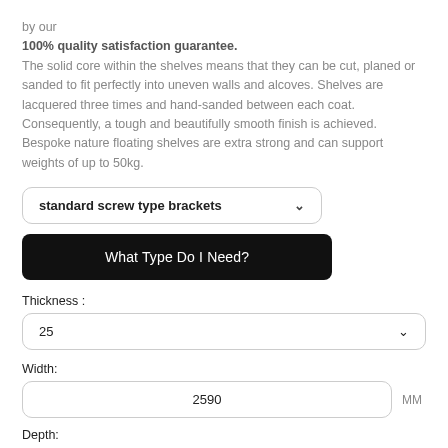by our
100% quality satisfaction guarantee.
The solid core within the shelves means that they can be cut, planed or sanded to fit perfectly into uneven walls and alcoves. Shelves are lacquered three times and hand-sanded between each coat. Consequently, a tough and beautifully smooth finish is achieved. Bespoke nature floating shelves are extra strong and can support weights of up to 50kg.
standard screw type brackets
What Type Do I Need?
Thickness :
25
Width:
2590
Depth: